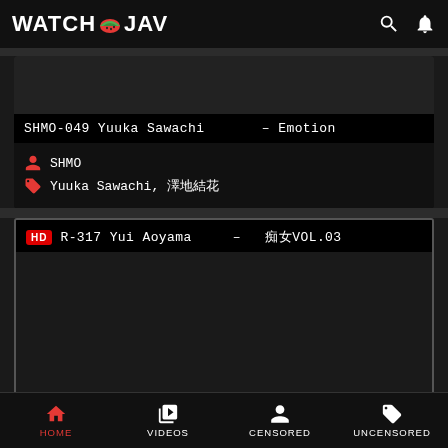WATCH JAV
[Figure (screenshot): Dark thumbnail area for first video card]
SHMO-049 Yuuka Sawachi  – Emotion
SHMO
Yuuka Sawachi, 澤地結花
[Figure (screenshot): Dark thumbnail area for second video card with HD badge]
HD R-317 Yui Aoyama – 痴女VOL.03
HOME  VIDEOS  CENSORED  UNCENSORED